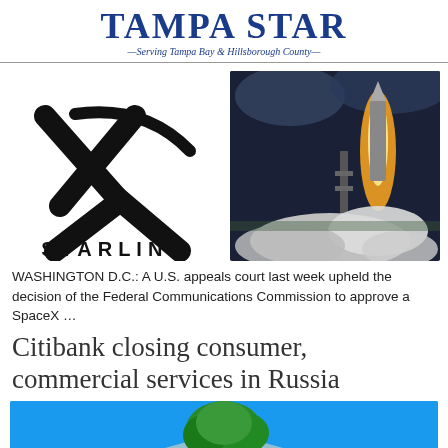Tampa Star
Serving Tampa Bay & Hillsborough County
[Figure (logo): Starlink logo: large X symbol in black above the word STARLINK in wide-spaced capital letters]
[Figure (photo): Rocket launch at night/dusk with bright flame and large cloud of smoke/steam at launchpad]
WASHINGTON D.C.: A U.S. appeals court last week upheld the decision of the Federal Communications Commission to approve a SpaceX ...
Citibank closing consumer, commercial services in Russia
[Figure (photo): Partial photo showing bright blue sky with trees visible, appears to be bottom of page cropped]